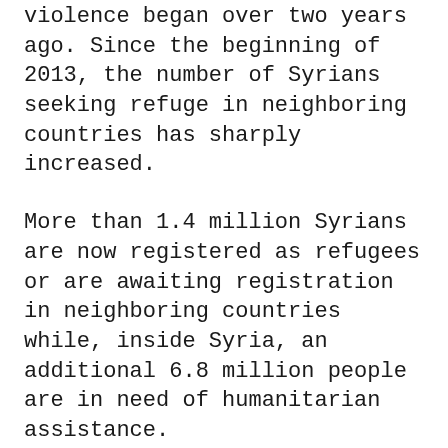violence began over two years ago. Since the beginning of 2013, the number of Syrians seeking refuge in neighboring countries has sharply increased.
More than 1.4 million Syrians are now registered as refugees or are awaiting registration in neighboring countries while, inside Syria, an additional 6.8 million people are in need of humanitarian assistance.